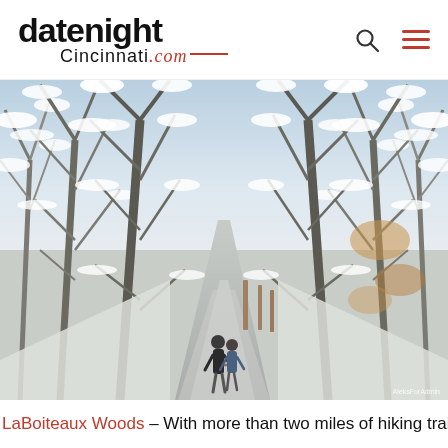datenight Cincinnati.com
[Figure (photo): A couple walking hand in hand down a snow-covered path lined with bare frost-covered trees in a winter woodland scene.]
AleksForAdmin
LaBoiteaux Woods – With more than two miles of hiking trails and